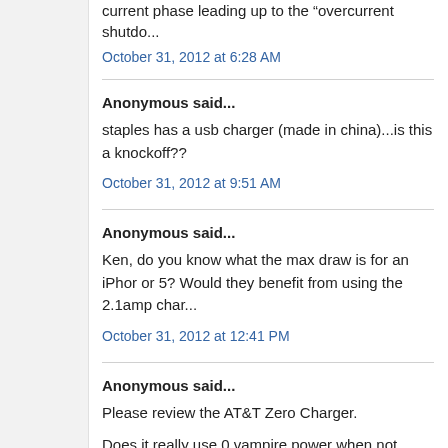current phase leading up to the overcurrent shutdo...
October 31, 2012 at 6:28 AM
Anonymous said...
staples has a usb charger (made in china)...is this a knockoff??
October 31, 2012 at 9:51 AM
Anonymous said...
Ken, do you know what the max draw is for an iPhone or 5? Would they benefit from using the 2.1amp char...
October 31, 2012 at 12:41 PM
Anonymous said...
Please review the AT&T Zero Charger.
Does it really use 0 vampire power when not plugged the phone?